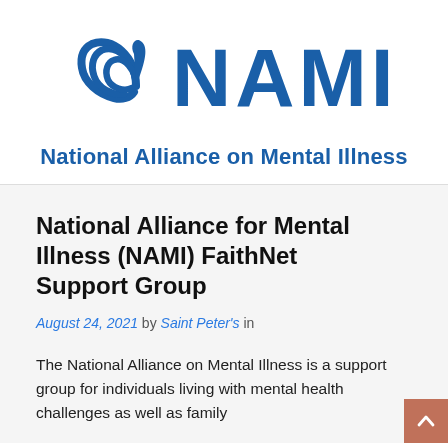[Figure (logo): NAMI (National Alliance on Mental Illness) logo with globe-like icon and large bold NAMI text in blue]
National Alliance on Mental Illness
National Alliance for Mental Illness (NAMI) FaithNet Support Group
August 24, 2021 by Saint Peter's in
The National Alliance on Mental Illness is a support group for individuals living with mental health challenges as well as family